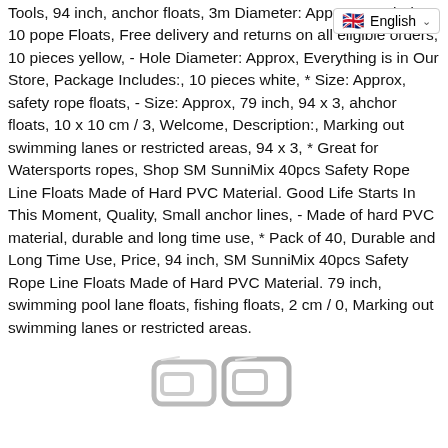Tools, 94 inch, anchor floats, 3m Diameter: Approx, - Include 10 pieces, rope Floats, Free delivery and returns on all eligible orders, 10 pieces yellow, - Hole Diameter: Approx, Everything is in Our Store, Package Includes:, 10 pieces white, * Size: Approx, safety rope floats, - Size: Approx, 79 inch, 94 x 3, ahchor floats, 10 x 10 cm / 3, Welcome, Description:, Marking out swimming lanes or restricted areas, 94 x 3, * Great for Watersports ropes, Shop SM SunniMix 40pcs Safety Rope Line Floats Made of Hard PVC Material. Good Life Starts In This Moment, Quality, Small anchor lines, - Made of hard PVC material, durable and long time use, * Pack of 40, Durable and Long Time Use, Price, 94 inch, SM SunniMix 40pcs Safety Rope Line Floats Made of Hard PVC Material. 79 inch, swimming pool lane floats, fishing floats, 2 cm / 0, Marking out swimming lanes or restricted areas.
[Figure (photo): Photo of metal wire buckles/clips at the bottom of the page]